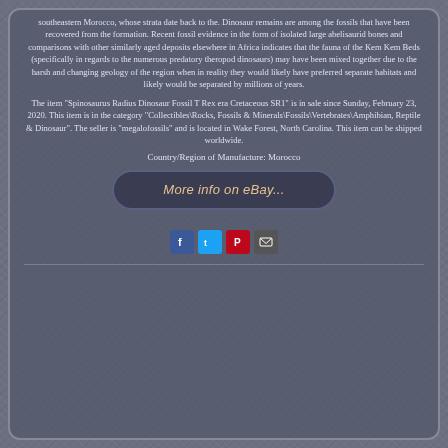southeastern Morocco, whose strata date back to the. Dinosaur remains are among the fossils that have been recovered from the formation. Recent fossil evidence in the form of isolated large abelisaurid bones and comparisons with other similarly aged deposits elsewhere in Africa indicates that the fauna of the Kem Kem Beds (specifically in regards to the numerous predatory theropod dinosaurs) may have been mixed together due to the harsh and changing geology of the region when in reality they would likely have preferred separate habitats and likely would be separated by millions of years.
The item "Spinosaurus Radius Dinosaur Fossil T Rex era Cretaceous SR1" is in sale since Sunday, February 23, 2020. This item is in the category "Collectibles\Rocks, Fossils & Minerals\Fossils\Vertebrates\Amphibian, Reptile & Dinosaur". The seller is "megalofossils" and is located in Wake Forest, North Carolina. This item can be shipped worldwide.
Country/Region of Manufacture: Morocco
[Figure (other): eBay button reading 'More info on eBay...']
[Figure (other): Social media sharing icons: Facebook, Twitter, Pinterest, Email]